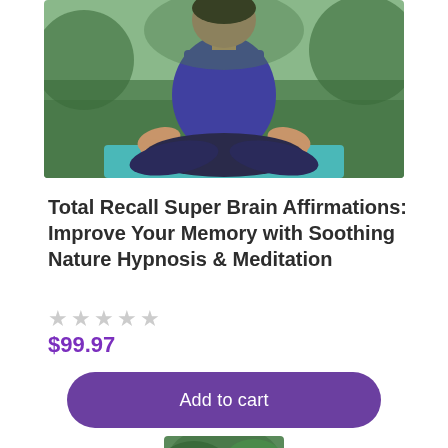[Figure (photo): Woman in blue tank top sitting in lotus meditation pose on green grass outdoors]
Total Recall Super Brain Affirmations: Improve Your Memory with Soothing Nature Hypnosis & Meditation
☆☆☆☆☆
$99.97
Add to cart
[Figure (photo): Partial view of trees with green foliage at bottom of page]